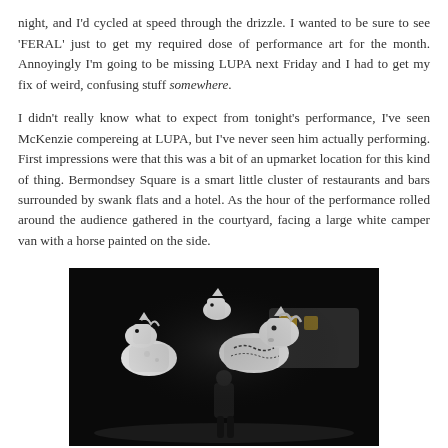night, and I'd cycled at speed through the drizzle. I wanted to be sure to see 'FERAL' just to get my required dose of performance art for the month. Annoyingly I'm going to be missing LUPA next Friday and I had to get my fix of weird, confusing stuff somewhere.
I didn't really know what to expect from tonight's performance, I've seen McKenzie compereing at LUPA, but I've never seen him actually performing. First impressions were that this was a bit of an upmarket location for this kind of thing. Bermondsey Square is a smart little cluster of restaurants and bars surrounded by swank flats and a hotel. As the hour of the performance rolled around the audience gathered in the courtyard, facing a large white camper van with a horse painted on the side.
[Figure (photo): Night-time photograph showing performers in white horse costumes/puppets, black and white themed, in an outdoor courtyard setting with a white vehicle visible in the background.]